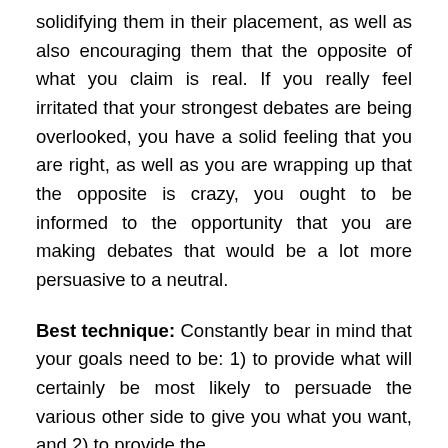solidifying them in their placement, as well as also encouraging them that the opposite of what you claim is real. If you really feel irritated that your strongest debates are being overlooked, you have a solid feeling that you are right, as well as you are wrapping up that the opposite is crazy, you ought to be informed to the opportunity that you are making debates that would be a lot more persuasive to a neutral.
Best technique: Constantly bear in mind that your goals need to be: 1) to provide what will certainly be most likely to persuade the various other side to give you what you want, and 2) to provide the